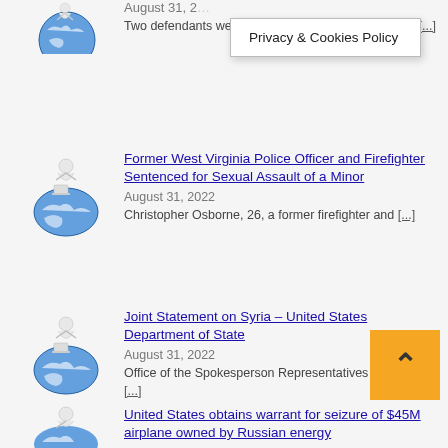[Figure (screenshot): Privacy & Cookies Policy popup tooltip]
Two defendants were sentenced today to substantial [...]
[Figure (illustration): White figure sitting on globe icon]
Former West Virginia Police Officer and Firefighter Sentenced for Sexual Assault of a Minor
August 31, 2022
Christopher Osborne, 26, a former firefighter and [...]
[Figure (illustration): White figure sitting on globe icon]
Joint Statement on Syria – United States Department of State
August 31, 2022
Office of the Spokesperson Representatives of the Arab [...]
[Figure (illustration): White figure sitting on globe icon]
United States obtains warrant for seizure of $45M airplane owned by Russian energy